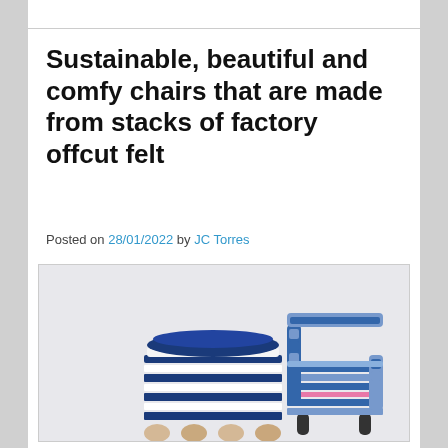Sustainable, beautiful and comfy chairs that are made from stacks of factory offcut felt
Posted on 28/01/2022 by JC Torres
[Figure (photo): Two chairs made from stacked layers of blue and white felt with wooden ball legs; one chair has a pink accent stripe and darker cylindrical legs]